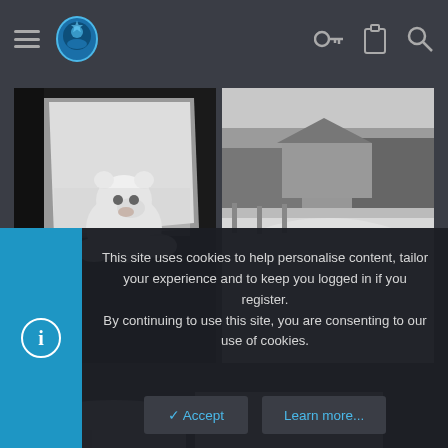[Figure (screenshot): Navigation bar with hamburger menu icon, blue circular logo/badge, and right-side icons for key, clipboard, and search on dark background]
[Figure (photo): Black and white photo: polar bear peering through a car window]
[Figure (photo): Black and white photo: snow-covered yard with house and bushes in background]
[Figure (photo): Photo: deep snow drifts against a brick wall exterior]
[Figure (photo): Partially visible white/light colored image at bottom right]
This site uses cookies to help personalise content, tailor your experience and to keep you logged in if you register.
By continuing to use this site, you are consenting to our use of cookies.
✓ Accept
Learn more...